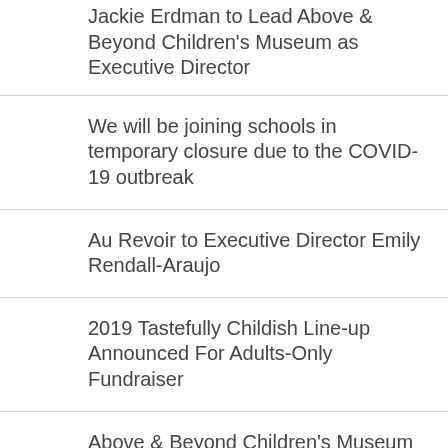Jackie Erdman to Lead Above & Beyond Children's Museum as Executive Director
We will be joining schools in temporary closure due to the COVID-19 outbreak
Au Revoir to Executive Director Emily Rendall-Araujo
2019 Tastefully Childish Line-up Announced For Adults-Only Fundraiser
Above & Beyond Children's Museum adds Family Access Program
Above & Beyond Children's Museum Announces Photographer Partnership
NEW MURAL PROJECT IN DOWNTOWN SHEBOYGAN DESIGNED TO IGNITE HAPPINESS
Tackling Community…Above & Beyond Children's…